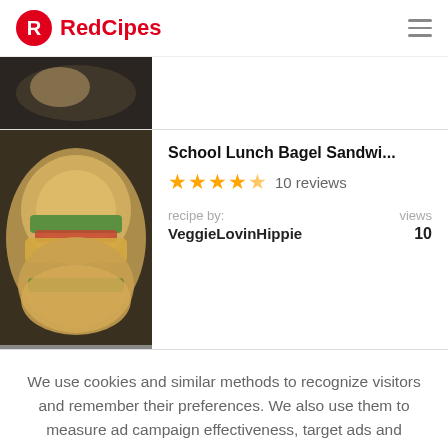RedCipes
[Figure (photo): Partially visible food photo at top, cropped]
School Lunch Bagel Sandwi... ★★★★★ 10 reviews recipe by: VeggieLovinHippie views 10
We use cookies and similar methods to recognize visitors and remember their preferences. We also use them to measure ad campaign effectiveness, target ads and analyze site traffic. Learn more
I accept